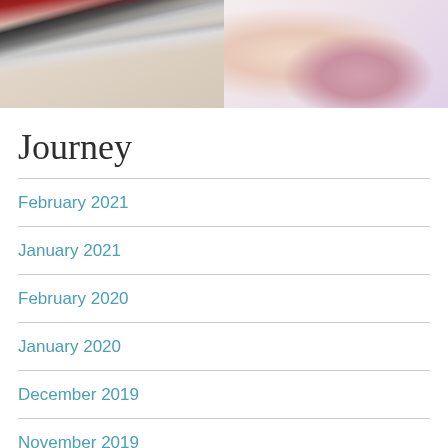[Figure (photo): Two side-by-side photos: left shows makeup pencils/brushes on a light surface; right shows a hand touching a round powder compact.]
Journey
February 2021
January 2021
February 2020
January 2020
December 2019
November 2019
June 2019
May 2019